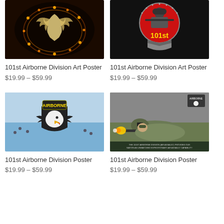[Figure (photo): 101st Airborne Division glowing eagle logo on dark background with orange lights]
101st Airborne Division Art Poster
$19.99 – $59.99
[Figure (photo): 101st Airborne Division soldier graphic with red circle and '101st' text in yellow on black background]
101st Airborne Division Art Poster
$19.99 – $59.99
[Figure (photo): 101st Airborne Division Screaming Eagle logo with AIRBORNE tab on blue sky background with paratroopers]
101st Airborne Division Poster
$19.99 – $59.99
[Figure (photo): 101st Airborne Division soldier firing weapon in field with text about Air Assault capability at bottom]
101st Airborne Division Poster
$19.99 – $59.99